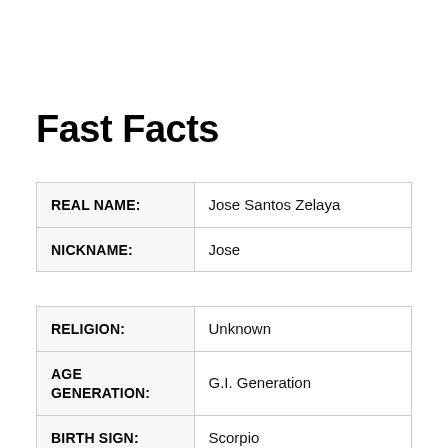Fast Facts
| REAL NAME: | Jose Santos Zelaya |
| NICKNAME: | Jose |
| RELIGION: | Unknown |
| AGE GENERATION: | G.I. Generation |
| BIRTH SIGN: | Scorpio |
| BIRTH DAY: | Tuesday |
| DEATH DAY: | Saturday |